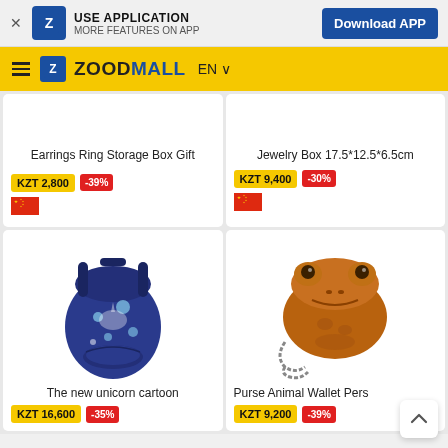USE APPLICATION MORE FEATURES ON APP — Download APP
ZOODMALL EN
Earrings Ring Storage Box Gift
KZT 2,800 -39%
Jewelry Box 17.5*12.5*6.5cm
KZT 9,400 -30%
[Figure (photo): Blue unicorn cartoon backpack]
The new unicorn cartoon
KZT 16,600 -35%
[Figure (photo): Purse Animal Wallet shaped like a frog/toad]
Purse Animal Wallet Pers
KZT 9,200 -39%